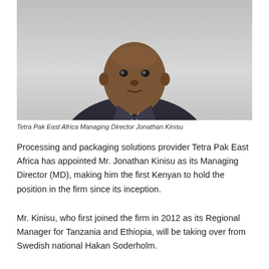[Figure (photo): Portrait photo of Jonathan Kinisu, a man wearing a dark suit with a tie, against a light gray background]
Tetra Pak East Africa Managing Director Jonathan Kinisu
Processing and packaging solutions provider Tetra Pak East Africa has appointed Mr. Jonathan Kinisu as its Managing Director (MD), making him the first Kenyan to hold the position in the firm since its inception.
Mr. Kinisu, who first joined the firm in 2012 as its Regional Manager for Tanzania and Ethiopia, will be taking over from Swedish national Hakan Soderholm.